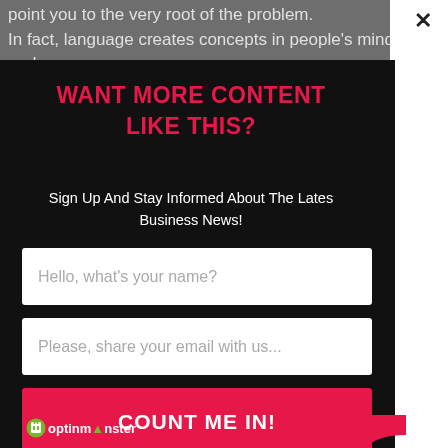point you to the very root of the problem.
In fact, language creates concepts in people's minds and
WANT MORE CONTENT LIKE THIS?
Sign Up And Stay Informed About The Latest Business News!
Hello, what's your name?
Please, share your email with us...
COUNT ME IN!
optinmonster
and language for British Airways, Selfridges, Sky, Ocado,